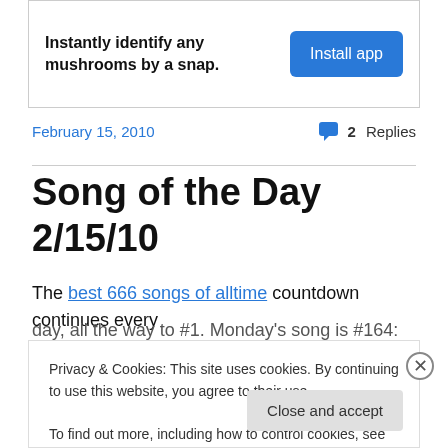[Figure (other): Advertisement banner: 'Instantly identify any mushrooms by a snap.' with a blue 'Install app' button]
February 15, 2010
2 Replies
Song of the Day 2/15/10
The best 666 songs of alltime countdown continues every day, all the way to #1. Monday's song is #164:
Privacy & Cookies: This site uses cookies. By continuing to use this website, you agree to their use.
To find out more, including how to control cookies, see here: Cookie Policy